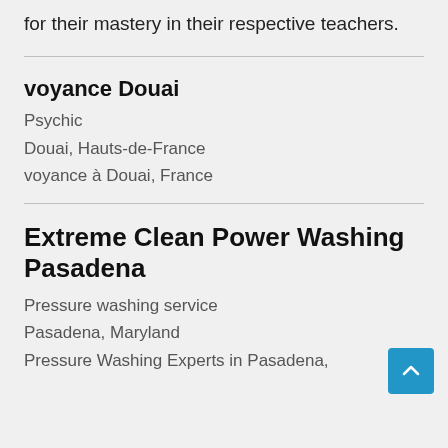for their mastery in their respective teachers.
voyance Douai
Psychic
Douai, Hauts-de-France
voyance à Douai, France
Extreme Clean Power Washing Pasadena
Pressure washing service
Pasadena, Maryland
Pressure Washing Experts in Pasadena,